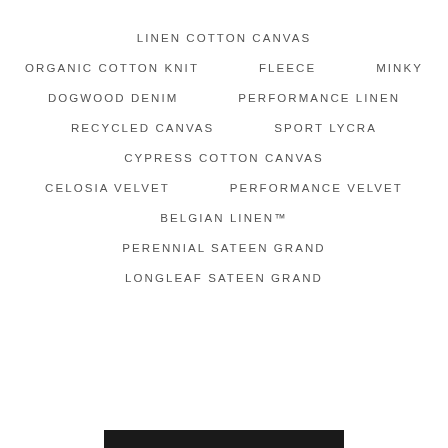LINEN COTTON CANVAS
ORGANIC COTTON KNIT   FLEECE   MINKY
DOGWOOD DENIM   PERFORMANCE LINEN
RECYCLED CANVAS   SPORT LYCRA
CYPRESS COTTON CANVAS
CELOSIA VELVET   PERFORMANCE VELVET
BELGIAN LINEN™
PERENNIAL SATEEN GRAND
LONGLEAF SATEEN GRAND
[Figure (other): Black rectangular bar at bottom center of page]